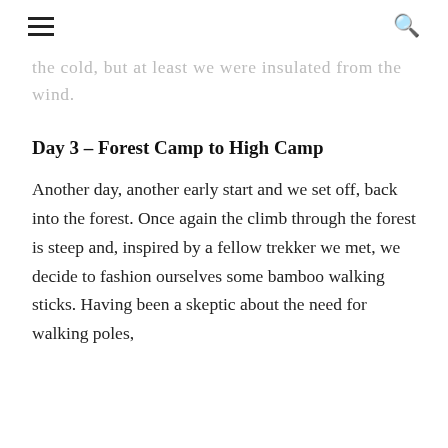[hamburger menu] [search icon]
the cold, but at least we were insulated from the wind.
Day 3 – Forest Camp to High Camp
Another day, another early start and we set off, back into the forest. Once again the climb through the forest is steep and, inspired by a fellow trekker we met, we decide to fashion ourselves some bamboo walking sticks. Having been a skeptic about the need for walking poles,